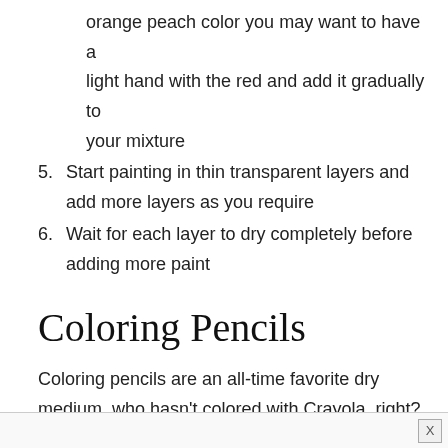orange peach color you may want to have a light hand with the red and add it gradually to your mixture
5. Start painting in thin transparent layers and add more layers as you require
6. Wait for each layer to dry completely before adding more paint
Coloring Pencils
Coloring pencils are an all-time favorite dry medium, who hasn't colored with Crayola, right?